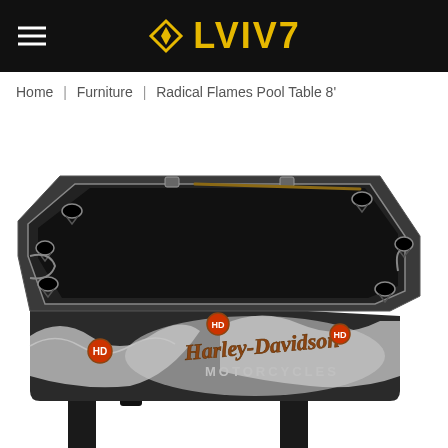LVIV7
Home | Furniture | Radical Flames Pool Table 8'
[Figure (photo): Harley-Davidson Motorcycles branded 'Radical Flames' 8-foot pool table with black felt playing surface, chrome rail details, flame graphics on sides, Harley-Davidson logo and 'MOTORCYCLES' text on the body, and black legs.]